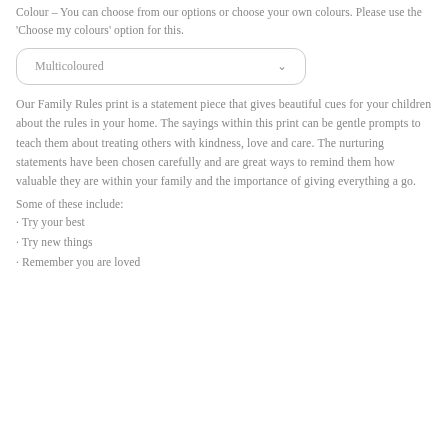Colour – You can choose from our options or choose your own colours. Please use the 'Choose my colours' option for this.
[Figure (other): Dropdown selector showing 'Multicoloured' with a chevron arrow]
Our Family Rules print is a statement piece that gives beautiful cues for your children about the rules in your home. The sayings within this print can be gentle prompts to teach them about treating others with kindness, love and care. The nurturing statements have been chosen carefully and are great ways to remind them how valuable they are within your family and the importance of giving everything a go.
Some of these include:
· Try your best
· Try new things
· Remember you are loved